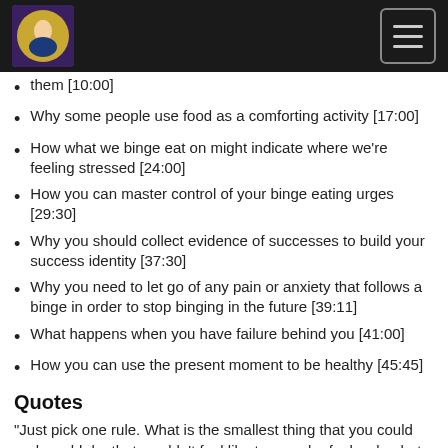Logo and navigation header
them [10:00]
Why some people use food as a comforting activity [17:00]
How what we binge eat on might indicate where we're feeling stressed [24:00]
How you can master control of your binge eating urges [29:30]
Why you should collect evidence of successes to build your success identity [37:30]
Why you need to let go of any pain or anxiety that follows a binge in order to stop binging in the future [39:11]
What happens when you have failure behind you [41:00]
How you can use the present moment to be healthy [45:45]
Quotes
“Just pick one rule. What is the smallest thing that you could and would do, that wouldn’t feel like too much of a burden but would turn the ship around.” [30:06]